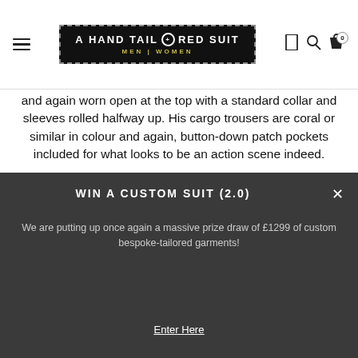A HAND TAILORED SUIT — MEN | WOMEN
and again worn open at the top with a standard collar and sleeves rolled halfway up. His cargo trousers are coral or similar in colour and again, button-down patch pockets included for what looks to be an action scene indeed.
[Figure (other): Image placeholder / embedded content box]
WIN A CUSTOM SUIT (2.0)
We are putting up once again a massive prize draw of £1299 of custom bespoke-tailored garments!
Enter Here